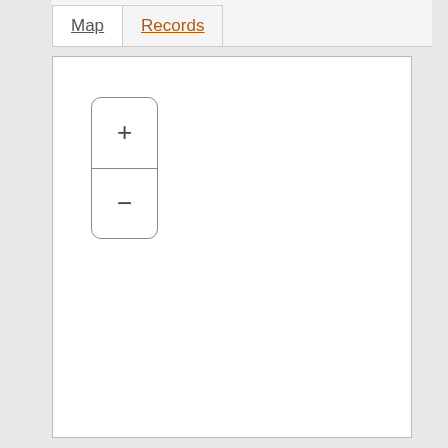Map
Records
[Figure (map): Empty map area with zoom in (+) and zoom out (-) controls in the upper left corner. The map area is blank/white.]